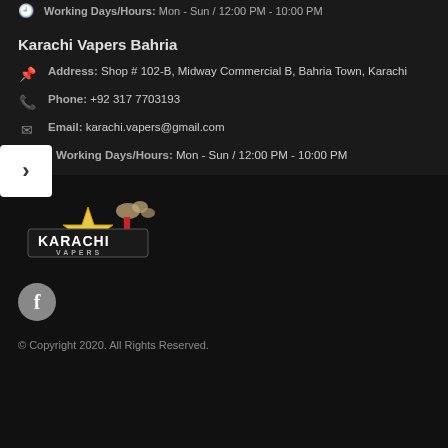Working Days/Hours: Mon - Sun / 12:00 PM - 10:00 PM
Karachi Vapers Bahria
Address: Shop # 102-B, Midway Commercial B, Bahria Town, Karachi
Phone: +92 317 7703193
Email: karachi.vapers@gmail.com
Working Days/Hours: Mon - Sun / 12:00 PM - 10:00 PM
[Figure (logo): Karachi Vapers logo with star emblem and smoke graphic]
© Copyright 2020. All Rights Reserved.